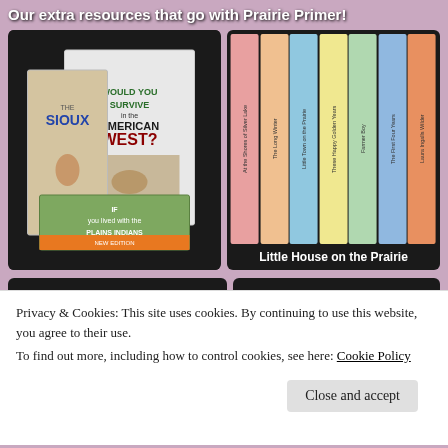Our extra resources that go with Prairie Primer!
[Figure (photo): Photo of books including 'The Sioux', 'Would You Survive the American West', and 'If You Lived with the Plains Indians' on a dark background]
[Figure (photo): Photo of Little House on the Prairie book series spines lined up vertically with label 'Little House on the Prairie']
[Figure (photo): Bottom left grid showing Wolves and Pioneer Life mini books on dark background]
[Figure (photo): Bottom right dark panel with text 'Books on manners!']
Privacy & Cookies: This site uses cookies. By continuing to use this website, you agree to their use.
To find out more, including how to control cookies, see here: Cookie Policy
Close and accept